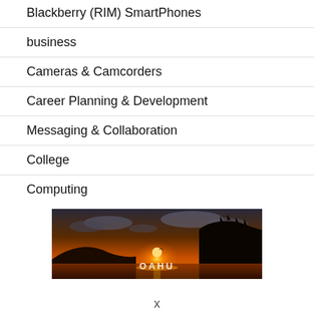Blackberry (RIM) SmartPhones
business
Cameras & Camcorders
Career Planning & Development
Messaging & Collaboration
College
Computing
[Figure (photo): Sunset over Oahu, Hawaii — silhouetted cliffs and mountains against an orange sky with the text OAHU overlaid in white]
x